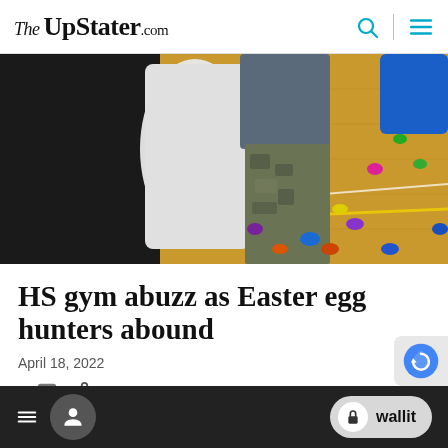The UpStater .com
[Figure (photo): Children hunting Easter eggs on a gym floor, colorful plastic eggs scattered on a hardwood basketball court, a child wearing camouflage pants holding a white bag]
HS gym abuzz as Easter egg hunters abound
April 18, 2022
0 [comment icon] [share icon]
By Melanie Lekocevic Capital Region
[hamburger menu] [user icon] [lock icon] wallit